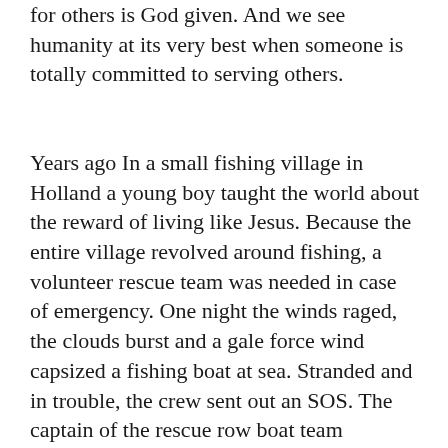for others is God given. And we see humanity at its very best when someone is totally committed to serving others.
Years ago In a small fishing village in Holland a young boy taught the world about the reward of living like Jesus. Because the entire village revolved around fishing, a volunteer rescue team was needed in case of emergency. One night the winds raged, the clouds burst and a gale force wind capsized a fishing boat at sea. Stranded and in trouble, the crew sent out an SOS. The captain of the rescue row boat team sounded the alarm and the villagers assembled overlooking the bay. The team launched their row boat while the